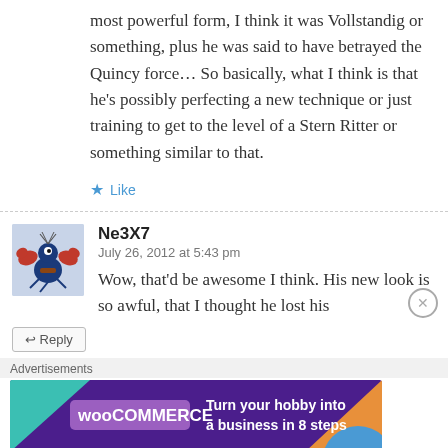most powerful form, I think it was Vollstandig or something, plus he was said to have betrayed the Quincy force… So basically, what I think is that he's possibly perfecting a new technique or just training to get to the level of a Stern Ritter or something similar to that.
Like
Ne3X7
July 26, 2012 at 5:43 pm
Wow, that'd be awesome I think. His new look is so awful, that I thought he lost his
Advertisements
[Figure (other): WooCommerce advertisement banner with teal and orange triangles, purple background, text: Turn your hobby into a business in 8 steps]